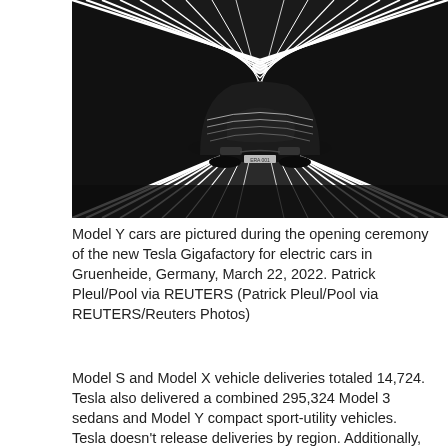[Figure (photo): Black Tesla Model Y car photographed from front center perspective inside a modern factory corridor with bright vertical lighting strips on both sides, creating a tunnel-like perspective at the Tesla Gigafactory in Gruenheide, Germany.]
Model Y cars are pictured during the opening ceremony of the new Tesla Gigafactory for electric cars in Gruenheide, Germany, March 22, 2022. Patrick Pleul/Pool via REUTERS (Patrick Pleul/Pool via REUTERS/Reuters Photos)
Model S and Model X vehicle deliveries totaled 14,724. Tesla also delivered a combined 295,324 Model 3 sedans and Model Y compact sport-utility vehicles. Tesla doesn't release deliveries by region. Additionally, the company said it produced